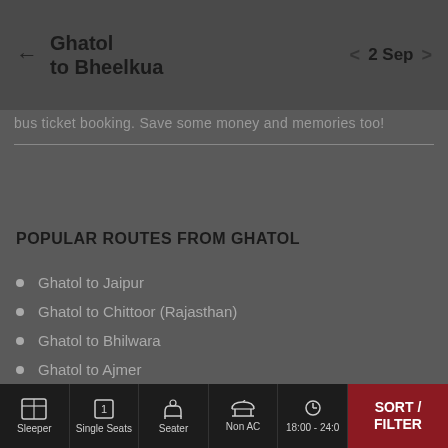Ghatol to Bheelkua  |  2 Sep
bus ticket booking. Save some money and memories too!
POPULAR ROUTES FROM GHATOL
Ghatol to Jaipur
Ghatol to Chittoor (Rajasthan)
Ghatol to Bhilwara
Ghatol to Ajmer
Ghatol to Nasirabad
Sleeper  Single Seats  Seater  Non AC  18:00 - 24:0  SORT / FILTER